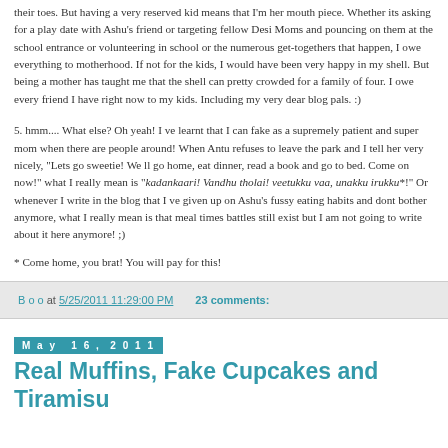their toes. But having a very reserved kid means that I'm her mouth piece. Whether its asking for a play date with Ashu's friend or targeting fellow Desi Moms and pouncing on them at the school entrance or volunteering in school or the numerous get-togethers that happen, I owe everything to motherhood. If not for the kids, I would have been very happy in my shell. But being a mother has taught me that the shell can pretty crowded for a family of four. I owe every friend I have right now to my kids. Including my very dear blog pals. :)
5. hmm.... What else? Oh yeah! I ve learnt that I can fake as a supremely patient and super mom when there are people around! When Antu refuses to leave the park and I tell her very nicely, "Lets go sweetie! We ll go home, eat dinner, read a book and go to bed. Come on now!" what I really mean is "kadankaari! Vandhu tholai! veetukku vaa, unakku irukku*!" Or whenever I write in the blog that I ve given up on Ashu's fussy eating habits and dont bother anymore, what I really mean is that meal times battles still exist but I am not going to write about it here anymore! ;)
* Come home, you brat! You will pay for this!
B o o at 5/25/2011 11:29:00 PM   23 comments:
May 16, 2011
Real Muffins, Fake Cupcakes and Tiramisu